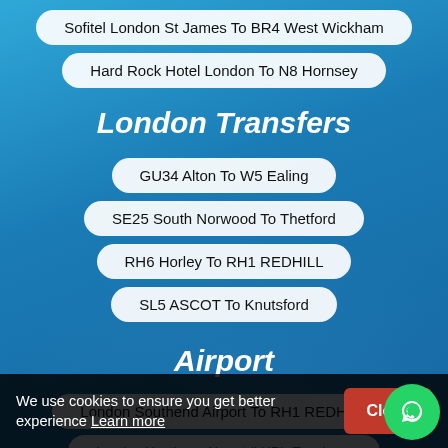Sofitel London St James To BR4 West Wickham
Hard Rock Hotel London To N8 Hornsey
London Transfers
GU34 Alton To W5 Ealing
SE25 South Norwood To Thetford
RH6 Horley To RH1 REDHILL
SL5 ASCOT To Knutsford
Airport
London Southend Airport To RH1 REDHILL
London Heathrow Airport (LHR), Terminal ...house
We use cookies to ensure you get better experience Learn more
Close